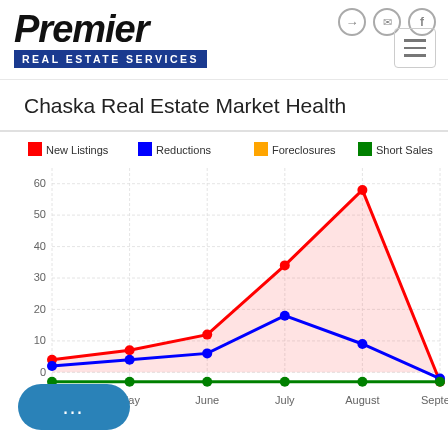Premier Real Estate Services
Chaska Real Estate Market Health
[Figure (line-chart): Chaska Real Estate Market Health]